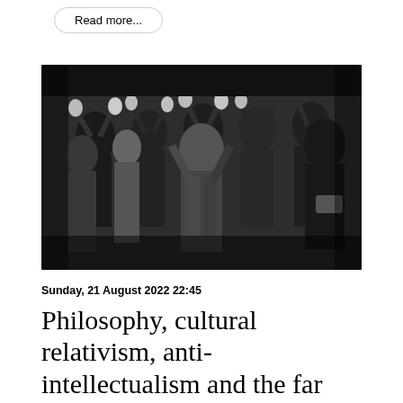Read more...
[Figure (photo): Black and white photograph of a group of people with hands raised, being searched or detained by armed officials in dark uniforms]
Sunday, 21 August 2022 22:45
Philosophy, cultural relativism, anti-intellectualism and the far right